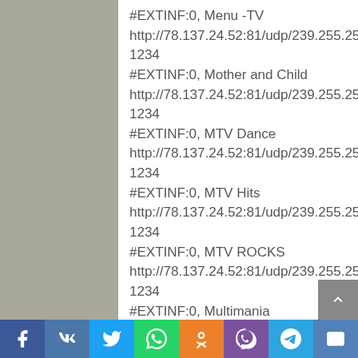#EXTINF:0, Menu -TV
http://78.137.24.52:81/udp/239.255.250.14:1234
#EXTINF:0, Mother and Child
http://78.137.24.52:81/udp/239.255.250.82:1234
#EXTINF:0, MTV Dance
http://78.137.24.52:81/udp/239.255.250.76:1234
#EXTINF:0, MTV Hits
http://78.137.24.52:81/udp/239.255.250.77:1234
#EXTINF:0, MTV ROCKS
http://78.137.24.52:81/udp/239.255.250.78:1234
#EXTINF:0, Multimania
http://78.137.24.52:81/udp/239.255.250.86:1234
Social share bar: Facebook, VK, Twitter, WhatsApp, Odnoklassniki, Viber, Telegram, Email